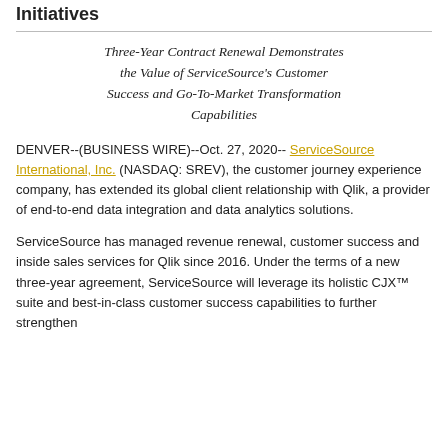Initiatives
Three-Year Contract Renewal Demonstrates the Value of ServiceSource's Customer Success and Go-To-Market Transformation Capabilities
DENVER--(BUSINESS WIRE)--Oct. 27, 2020-- ServiceSource International, Inc. (NASDAQ: SREV), the customer journey experience company, has extended its global client relationship with Qlik, a provider of end-to-end data integration and data analytics solutions.
ServiceSource has managed revenue renewal, customer success and inside sales services for Qlik since 2016. Under the terms of a new three-year agreement, ServiceSource will leverage its holistic CJX™ suite and best-in-class customer success capabilities to further strengthen